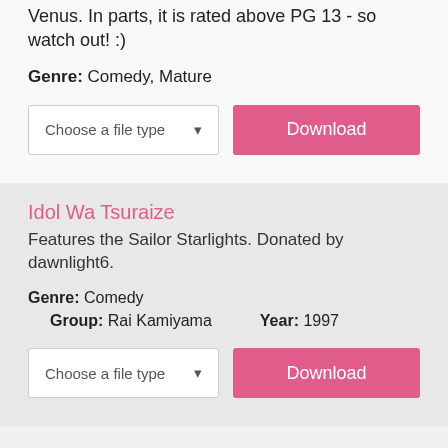Venus. In parts, it is rated above PG 13 - so watch out! :)
Genre: Comedy, Mature
[Figure (other): File type dropdown selector and Download button]
Idol Wa Tsuraize
Features the Sailor Starlights. Donated by dawnlight6.
Genre: Comedy
Group: Rai Kamiyama   Year: 1997
[Figure (other): File type dropdown selector and Download button]